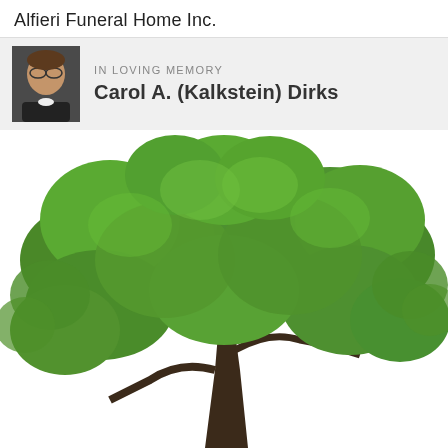Alfieri Funeral Home Inc.
IN LOVING MEMORY
Carol A. (Kalkstein) Dirks
[Figure (illustration): A large leafy green tree with a dark trunk, white background, photographed/illustrated as a memorial symbol on a funeral home page.]